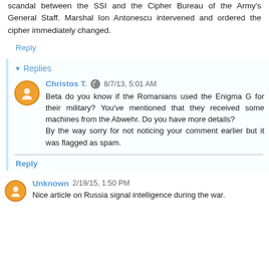scandal between the SSI and the Cipher Bureau of the Army's General Staff. Marshal Ion Antonescu intervened and ordered the cipher immediately changed.
Reply
▾ Replies
Christos T. 8/7/13, 5:01 AM
Beta do you know if the Romanians used the Enigma G for their military? You've mentioned that they received some machines from the Abwehr. Do you have more details?
By the way sorry for not noticing your comment earlier but it was flagged as spam.
Reply
Unknown 2/19/15, 1:50 PM
Nice article on Russia signal intelligence during the war.